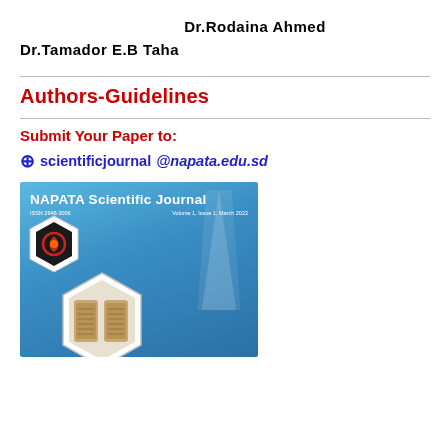Dr.Rodaina Ahmed
Dr.Tamador E.B Taha
Authors-Guidelines
Submit Your Paper to:
⊕ scientificjournal@napata.edu.sd
[Figure (photo): Cover of NAPATA Scientific Journal, Volume 1, Issue 1, March 2022, showing the journal title in white bold text on a blue background with a hexagonal logo containing a red flame symbol, and a lower hexagon containing two ancient clay tablet images, with a faint monument silhouette in the background.]